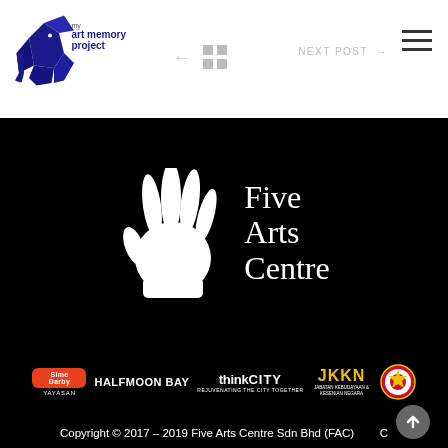[Figure (logo): My Art Memory Project logo - geometric blue elephant with text 'my art memory project']
NEXT POST →
[Figure (logo): Five Arts Centre logo - white handprint with text 'Five Arts Centre' on black background]
[Figure (logo): Sponsor logos bar: Sime Darby Yayasan (orange), Halfmoon Bay, thinkcity (Rejuvenating the City Together), JKKN, Malaysian government crest]
Copyright © 2017 – 2019 Five Arts Centre Sdn Bhd (FAC) owns copyright to its information and material. All other copyrights are own by their respective owners. For full terms, see General